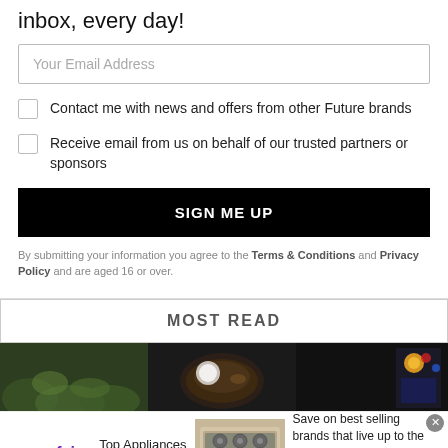inbox, every day!
Your Email Address
Contact me with news and offers from other Future brands
Receive email from us on behalf of our trusted partners or sponsors
SIGN ME UP
By submitting your information you agree to the Terms & Conditions and Privacy Policy and are aged 16 or over.
MOST READ
[Figure (photo): Three cropped images showing food/plants and a dark background with a colorful item on the right]
[Figure (infographic): Wayfair advertisement banner: Top Appliances Low Prices, image of a stove, Save on best selling brands that live up to the hype, Shop now button]